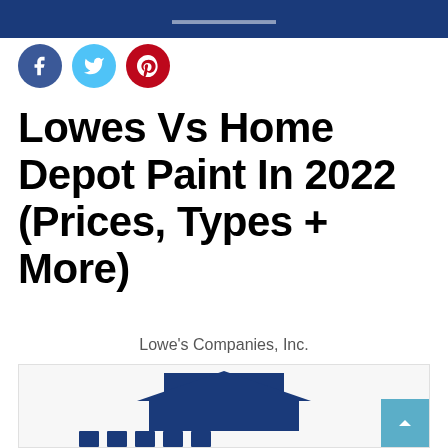[Figure (logo): Dark blue banner at top of page, partial website header]
[Figure (infographic): Three social sharing icons: Facebook (dark blue circle with 'f'), Twitter (light blue circle with bird), Pinterest (red circle with 'p' pin icon)]
Lowes Vs Home Depot Paint In 2022 (Prices, Types + More)
Lowe's Companies, Inc.
[Figure (logo): Partial Lowe's store logo on grey/white background, dark blue house shape and partial text visible at bottom of page. A light blue scroll-to-top button with upward arrow is in the lower right corner.]